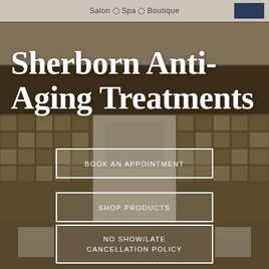Salon · Spa · Boutique
Sherborn Anti-Aging Treatments
BOOK AN APPOINTMENT
SHOP PRODUCTS
NO SHOW/LATE CANCELLATION POLICY
[Figure (photo): Interior of jesamondo salon with decorative tile mosaic wall featuring brown and gold square tiles, white panels, and branded signage reading 'jesamondo' on the dark brown wall behind the reception area.]